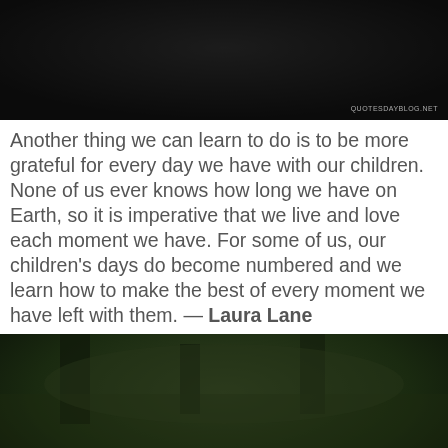[Figure (photo): Dark atmospheric sky image with website watermark 'QUOTESDAYBLOG.NET' in bottom right corner]
Another thing we can learn to do is to be more grateful for every day we have with our children. None of us ever knows how long we have on Earth, so it is imperative that we live and love each moment we have. For some of us, our children's days do become numbered and we learn how to make the best of every moment we have left with them. — Laura Lane
[Figure (photo): Dark forest/aerial nature image with yellow italic quote text overlay: 'Time is not measured by the years that you live But by the deeds that you do and the joy that you give- And each day as it comes brings a chance to each one To love to the fullest, leaving nothing undone That would brighten the life or lighten the load Of some weary traveler lost on Life's Road- So what does it matter how long we may live If as long as we live we unselfishly give.' Author: Helen Steiner Rice]